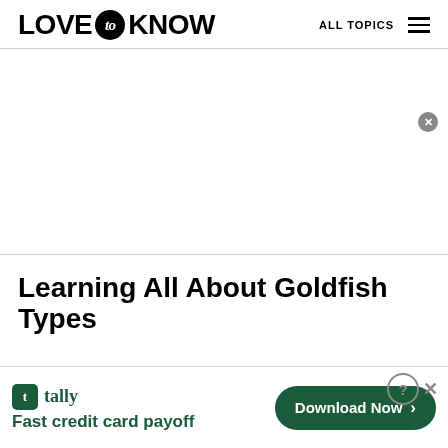LOVE to KNOW   ALL TOPICS
[Figure (other): Advertisement placeholder area (blank white space)]
Learning All About Goldfish Types
[Figure (other): Tally app advertisement banner: 'tally Fast credit card payoff' with Download Now button and close/help icons]